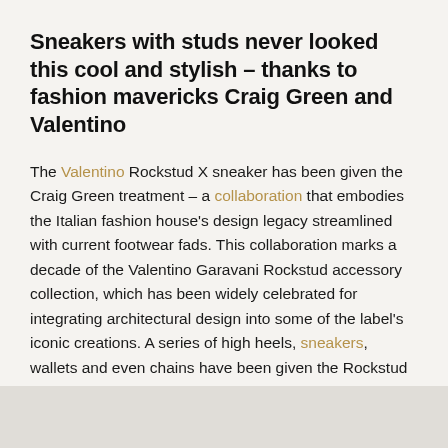Sneakers with studs never looked this cool and stylish – thanks to fashion mavericks Craig Green and Valentino
The Valentino Rockstud X sneaker has been given the Craig Green treatment – a collaboration that embodies the Italian fashion house's design legacy streamlined with current footwear fads. This collaboration marks a decade of the Valentino Garavani Rockstud accessory collection, which has been widely celebrated for integrating architectural design into some of the label's iconic creations. A series of high heels, sneakers, wallets and even chains have been given the Rockstud treatment over the years, but few to none have conjured up streetwear chic as much as the Rockstud X sneaker is able to.